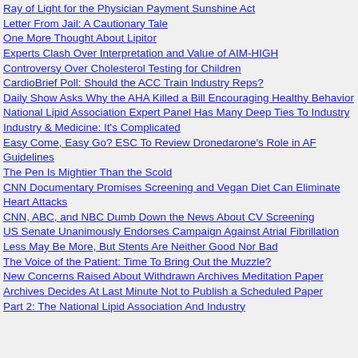Ray of Light for the Physician Payment Sunshine Act
Letter From Jail: A Cautionary Tale
One More Thought About Lipitor
Experts Clash Over Interpretation and Value of AIM-HIGH
Controversy Over Cholesterol Testing for Children
CardioBrief Poll: Should the ACC Train Industry Reps?
Daily Show Asks Why the AHA Killed a Bill Encouraging Healthy Behavior
National Lipid Association Expert Panel Has Many Deep Ties To Industry
Industry & Medicine: It's Complicated
Easy Come, Easy Go? ESC To Review Dronedarone's Role in AF Guidelines
The Pen Is Mightier Than the Scold
CNN Documentary Promises Screening and Vegan Diet Can Eliminate Heart Attacks
CNN, ABC, and NBC Dumb Down the News About CV Screening
US Senate Unanimously Endorses Campaign Against Atrial Fibrillation
Less May Be More, But Stents Are Neither Good Nor Bad
The Voice of the Patient: Time To Bring Out the Muzzle?
New Concerns Raised About Withdrawn Archives Meditation Paper
Archives Decides At Last Minute Not to Publish a Scheduled Paper
Part 2: The National Lipid Association And Industry